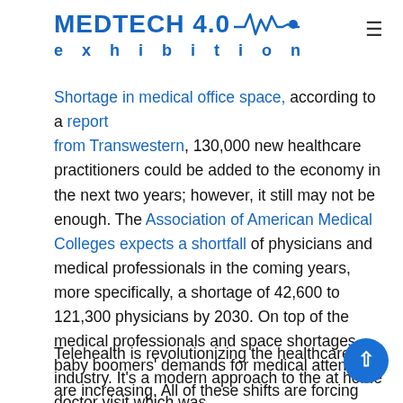MEDTECH 4.0 exhibition
Shortage in medical office space, according to a report from Transwestern, 130,000 new healthcare practitioners could be added to the economy in the next two years; however, it still may not be enough. The Association of American Medical Colleges expects a shortfall of physicians and medical professionals in the coming years, more specifically, a shortage of 42,600 to 121,300 physicians by 2030. On top of the medical professionals and space shortages, baby boomers' demands for medical attention are increasing. All of these shifts are forcing practitioners to expand beyond traditional care and design healthcare facilities with telehealth and telemedicine services in mind.
Telehealth is revolutionizing the healthcare industry. It's a modern approach to the at home doctor visit which was